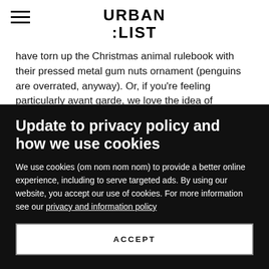URBAN LIST
have torn up the Christmas animal rulebook with their pressed metal gum nuts ornament (penguins are overrated, anyway). Or, if you're feeling particularly avant garde, we love the idea of adorning your tree with brooches and other non-traditional trinkets, like the uber
Update to privacy policy and how we use cookies
We use cookies (om nom nom nom) to provide a better online experience, including to serve targeted ads. By using our website, you accept our use of cookies. For more information see our privacy and information policy
ACCEPT